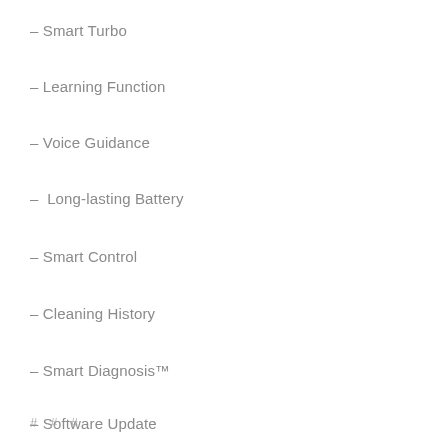– Smart Turbo
– Learning Function
– Voice Guidance
–  Long-lasting Battery
– Smart Control
– Cleaning History
– Smart Diagnosis™
– Software Update
# # #